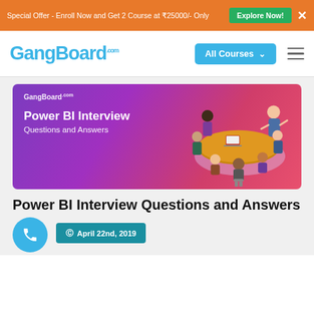Special Offer - Enroll Now and Get 2 Course at ₹25000/- Only   Explore Now!   ✕
[Figure (logo): GangBoard.com logo in cyan/blue text]
[Figure (illustration): GangBoard Power BI Interview Questions and Answers hero banner with purple-pink gradient background and meeting illustration of people around a table]
Power BI Interview Questions and Answers
April 22nd, 2019